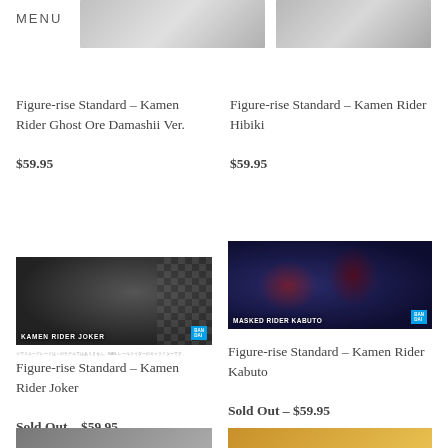MENU    CART
Figure-rise Standard – Kamen Rider Ghost Ore Damashii Ver.
$59.95
Figure-rise Standard – Kamen Rider Hibiki
$59.95
[Figure (photo): Product box art for Figure-rise Standard Kamen Rider Joker - black armored figure against checkered background]
[Figure (photo): Product box art for Masked Rider Kabuto - red and black armored figure]
Figure-rise Standard – Kamen Rider Joker
Sold Out – $59.95
Figure-rise Standard – Kamen Rider Kabuto
Sold Out – $59.95
[Figure (photo): Partial product image bottom left]
[Figure (photo): Partial product image bottom right]